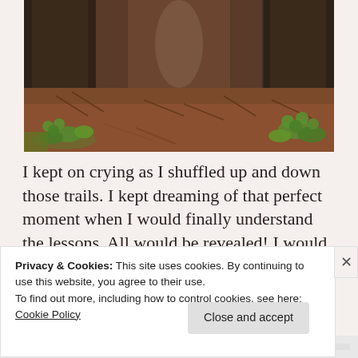[Figure (photo): Forest trail photo showing large tree trunks with reddish-brown pine needle ground cover and green clover/shamrock plants growing at the base of the trees]
I kept on crying as I shuffled up and down those trails. I kept dreaming of that perfect moment when I would finally understand the lessons. All would be revealed! I would be healed in my body and soul! I would be released! The forest magic
Privacy & Cookies: This site uses cookies. By continuing to use this website, you agree to their use.
To find out more, including how to control cookies, see here:
Cookie Policy
Close and accept